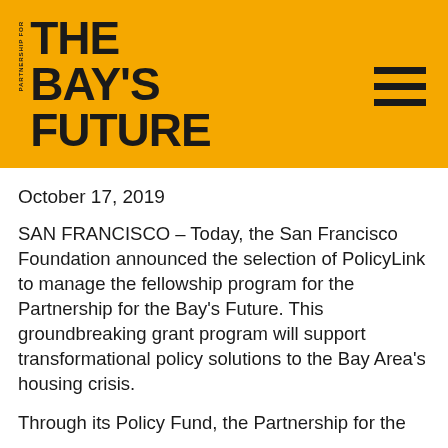PARTNERSHIP FOR THE BAY'S FUTURE
October 17, 2019
SAN FRANCISCO – Today, the San Francisco Foundation announced the selection of PolicyLink to manage the fellowship program for the Partnership for the Bay's Future. This groundbreaking grant program will support transformational policy solutions to the Bay Area's housing crisis.
Through its Policy Fund, the Partnership for the